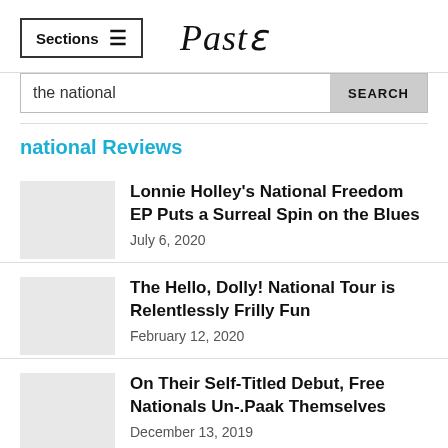Sections  Paste
the national  SEARCH
national Reviews
Lonnie Holley's National Freedom EP Puts a Surreal Spin on the Blues
July 6, 2020
The Hello, Dolly! National Tour is Relentlessly Frilly Fun
February 12, 2020
On Their Self-Titled Debut, Free Nationals Un-.Paak Themselves
December 13, 2019